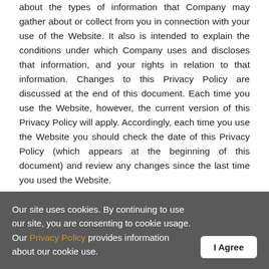about the types of information that Company may gather about or collect from you in connection with your use of the Website. It also is intended to explain the conditions under which Company uses and discloses that information, and your rights in relation to that information. Changes to this Privacy Policy are discussed at the end of this document. Each time you use the Website, however, the current version of this Privacy Policy will apply. Accordingly, each time you use the Website you should check the date of this Privacy Policy (which appears at the beginning of this document) and review any changes since the last time you used the Website.
The Website is hosted in the United States of America and is subject to U.S. state and federal law. If you are accessing our Website from other jurisdictions, please be advised that you are transferring your personal information to us in the United States and by using our Website, you consent to the transfer of
Our site uses cookies. By continuing to use our site, you are consenting to cookie usage. Our Privacy Policy provides information about our cookie use.